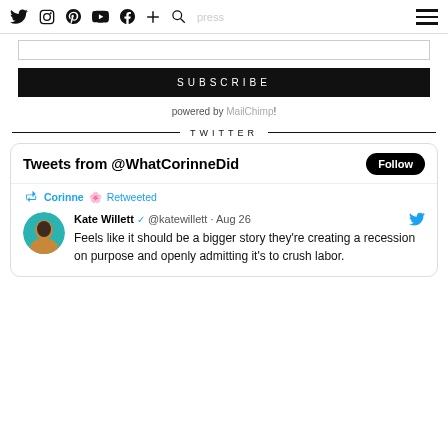Social media navigation bar with icons: Twitter, Instagram, Pinterest, YouTube, Facebook, plus, search, and hamburger menu
[Figure (other): Email input box for newsletter subscription]
SUBSCRIBE
powered by MailChimp!
TWITTER
Tweets from @WhatCorinneDid
Corinne 🌸 Retweeted
Kate Willett ✓ @katewillett · Aug 26
Feels like it should be a bigger story they're creating a recession on purpose and openly admitting it's to crush labor.